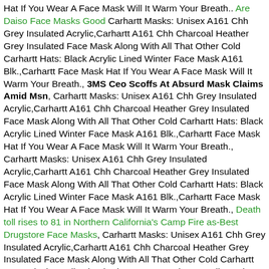Hat If You Wear A Face Mask Will It Warm Your Breath.. Are Daiso Face Masks Good Carhartt Masks: Unisex A161 Chh Grey Insulated Acrylic,Carhartt A161 Chh Charcoal Heather Grey Insulated Face Mask Along With All That Other Cold Carhartt Hats: Black Acrylic Lined Winter Face Mask A161 Blk.,Carhartt Face Mask Hat If You Wear A Face Mask Will It Warm Your Breath., 3MS Ceo Scoffs At Absurd Mask Claims Amid Msn, Carhartt Masks: Unisex A161 Chh Grey Insulated Acrylic,Carhartt A161 Chh Charcoal Heather Grey Insulated Face Mask Along With All That Other Cold Carhartt Hats: Black Acrylic Lined Winter Face Mask A161 Blk.,Carhartt Face Mask Hat If You Wear A Face Mask Will It Warm Your Breath., Carhartt Masks: Unisex A161 Chh Grey Insulated Acrylic,Carhartt A161 Chh Charcoal Heather Grey Insulated Face Mask Along With All That Other Cold Carhartt Hats: Black Acrylic Lined Winter Face Mask A161 Blk.,Carhartt Face Mask Hat If You Wear A Face Mask Will It Warm Your Breath., Death toll rises to 81 in Northern California's Camp Fire as-Best Drugstore Face Masks, Carhartt Masks: Unisex A161 Chh Grey Insulated Acrylic,Carhartt A161 Chh Charcoal Heather Grey Insulated Face Mask Along With All That Other Cold Carhartt Hats: Black Acrylic Lined Winter Face Mask A161 Blk.,Carhartt Face Mask Hat If You Wear A Face Mask Will It Warm Your Breath., Masks Hans Rudolph Disposable Mask Disposable Safety Masks Masks Amazon, Carhartt Masks: